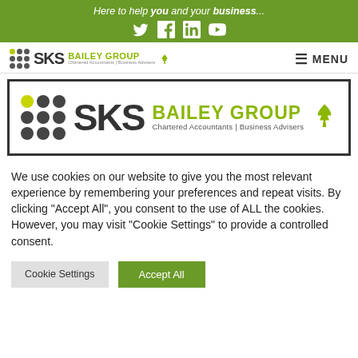Here to help you and your business...
[Figure (logo): SKS Bailey Group logo in navigation bar with dots grid, SKS text, Bailey Group name, and social media icons]
[Figure (logo): Large SKS Bailey Group logo — Chartered Accountants | Business Advisers — inside a dark bordered box]
We use cookies on our website to give you the most relevant experience by remembering your preferences and repeat visits. By clicking "Accept All", you consent to the use of ALL the cookies. However, you may visit "Cookie Settings" to provide a controlled consent.
Cookie Settings
Accept All